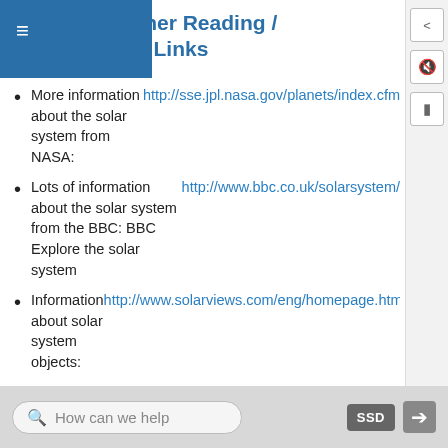Further Reading / Supplemental Links
More information about the solar system from NASA: http://sse.jpl.nasa.gov/planets/index.cfm
Lots of information about the solar system from the BBC: BBC Explore the solar system http://www.bbc.co.uk/solarsystem/
Information about solar system objects: http://www.solarviews.com/eng/homepage.htm
A multimedia tour of the solar system: http://www.nineplanets.org/
Windows to the Universe: http://www.windows.ucar.edu/tour/link=/o